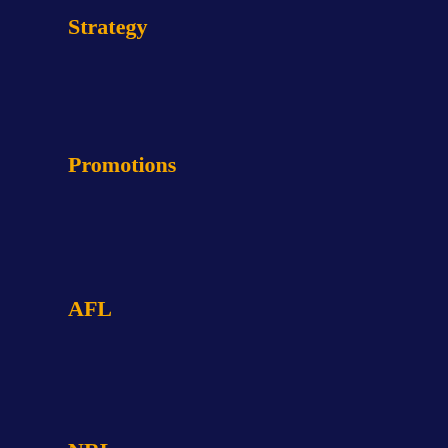Strategy
Promotions
AFL
NRL
NBA
Horse Racing
Draftstars
NFL